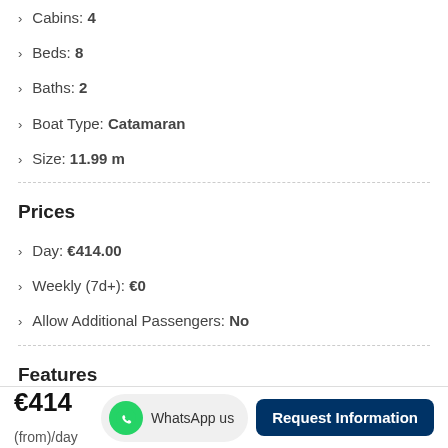Cabins: 4
Beds: 8
Baths: 2
Boat Type: Catamaran
Size: 11.99 m
Prices
Day: €414.00
Weekly (7d+): €0
Allow Additional Passengers: No
Features
€414 (from)/day  WhatsApp us  Request Information